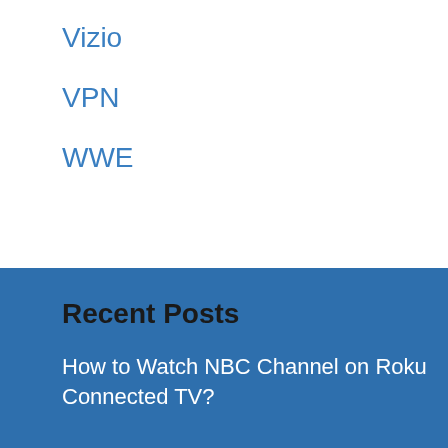Vizio
VPN
WWE
Recent Posts
How to Watch NBC Channel on Roku Connected TV?